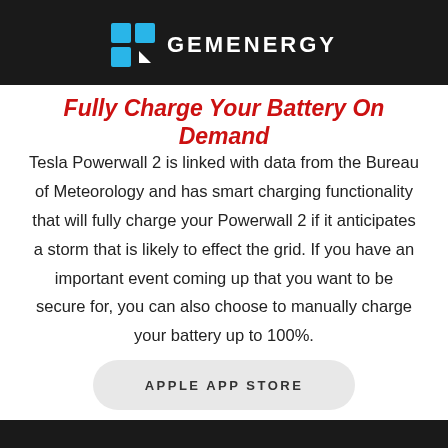[Figure (logo): GemEnergy logo with blue grid icon and white text GEMENERGY on dark background header bar]
Fully Charge Your Battery On Demand
Tesla Powerwall 2 is linked with data from the Bureau of Meteorology and has smart charging functionality that will fully charge your Powerwall 2 if it anticipates a storm that is likely to effect the grid. If you have an important event coming up that you want to be secure for, you can also choose to manually charge your battery up to 100%.
APPLE APP STORE